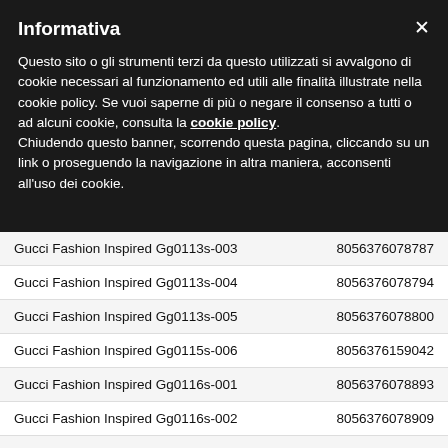Informativa
Questo sito o gli strumenti terzi da questo utilizzati si avvalgono di cookie necessari al funzionamento ed utili alle finalità illustrate nella cookie policy. Se vuoi saperne di più o negare il consenso a tutti o ad alcuni cookie, consulta la cookie policy.
Chiudendo questo banner, scorrendo questa pagina, cliccando su un link o proseguendo la navigazione in altra maniera, acconsenti all'uso dei cookie.
|  |  |
| --- | --- |
| Gucci Fashion Inspired Gg0113s-003 | 8056376078787 |
| Gucci Fashion Inspired Gg0113s-004 | 8056376078794 |
| Gucci Fashion Inspired Gg0113s-005 | 8056376078800 |
| Gucci Fashion Inspired Gg0115s-006 | 8056376159042 |
| Gucci Fashion Inspired Gg0116s-001 | 8056376078893 |
| Gucci Fashion Inspired Gg0116s-002 | 8056376078909 |
| Gucci Fashion Inspired Gg0116s-003 | 8056376078916 |